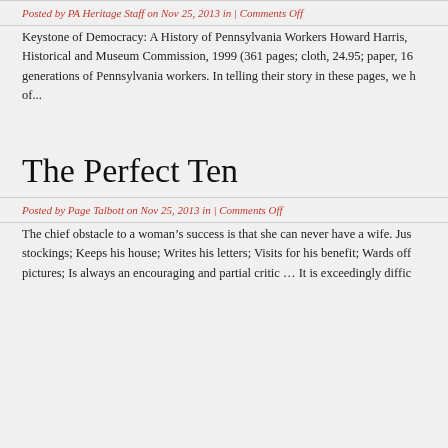Posted by PA Heritage Staff on Nov 25, 2013 in | Comments Off
Keystone of Democracy: A History of Pennsylvania Workers Howard Harris, Historical and Museum Commission, 1999 (361 pages; cloth, 24.95; paper, 16 generations of Pennsylvania workers. In telling their story in these pages, we of...
The Perfect Ten
Posted by Page Talbott on Nov 25, 2013 in | Comments Off
The chief obstacle to a woman’s success is that she can never have a wife. Jus stockings; Keeps his house; Writes his letters; Visits for his benefit; Wards off pictures; Is always an encouraging and partial critic … It is exceedingly diffic